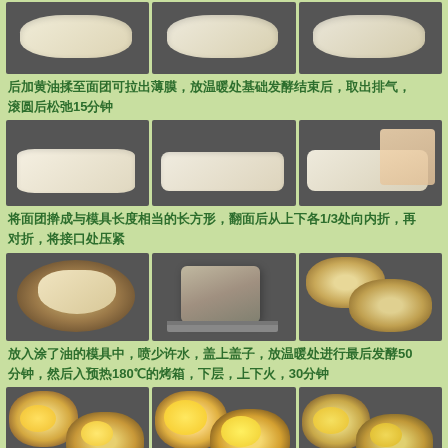[Figure (photo): Three photos showing dough in mixing bowls at different stages]
后加黄油揉至面团可拉出薄膜，放温暖处基础发酵结束后，取出排气，滚圆后松弛15分钟
[Figure (photo): Three photos showing dough being rolled and folded into rectangular shape]
将面团擀成与模具长度相当的长方形，翻面后从上下各1/3处向内折，再对折，将接口处压紧
[Figure (photo): Three photos showing dough placed in heart-shaped molds, baking pan, and finished heart-shaped bread]
放入涂了油的模具中，喷少许水，盖上盖子，放温暖处进行最后发酵50分钟，然后入预热180℃的烤箱，下层，上下火，30分钟
[Figure (photo): Three photos showing heart-shaped bread bowls filled with egg and other ingredients]